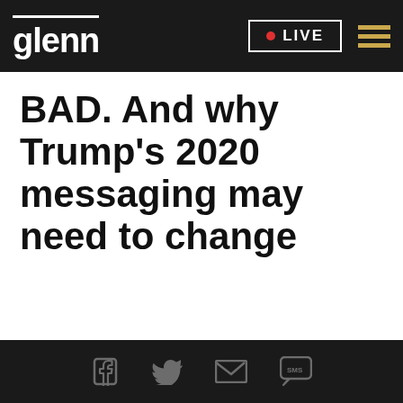glenn | LIVE
BAD. And why Trump's 2020 messaging may need to change
Social share icons: Facebook, Twitter, Email, SMS